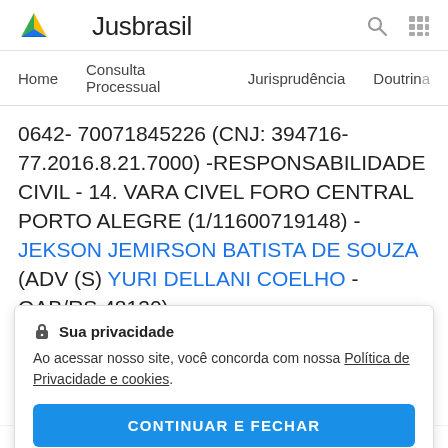Jusbrasil
Home   Consulta Processual   Jurisprudência   Doutrina
0642- 70071845226 (CNJ: 394716-77.2016.8.21.7000) -RESPONSABILIDADE CIVIL - 14. VARA CIVEL FORO CENTRAL PORTO ALEGRE (1/11600719148) - JEKSON JEMIRSON BATISTA DE SOUZA (ADV (S) YURI DELLANI COELHO - OAB/RS 48130),
Sua privacidade
Ao acessar nosso site, você concorda com nossa Política de Privacidade e cookies.
CONTINUAR E FECHAR